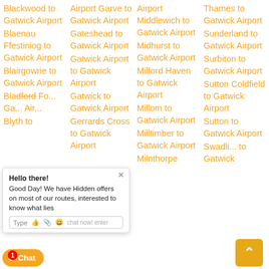Blackwood to Gatwick Airport
Blaenau Ffestiniog to Gatwick Airport
Blairgowrie to Gatwick Airport
Bla[dford Fo... Ga... Air...
Blyth to
Airport Garve to Gatwick Airport
Gateshead to Gatwick Airport
Gatwick Airport to Gatwick Airport
Gatwick to Gatwick Airport
Gerrards Cross to Gatwick Airport
Airport Middlewich to Gatwick Airport
Midhurst to Gatwick Airport
Milford Haven to Gatwick Airport
Millom to Gatwick Airport
Milltimber to Gatwick Airport
Milnthorpe
Thames to Gatwick Airport
Sunderland to Gatwick Airport
Surbiton to Gatwick Airport
Sutton Coldfield to Gatwick Airport
Sutton to Gatwick Airport
Swadli... to Gatwick